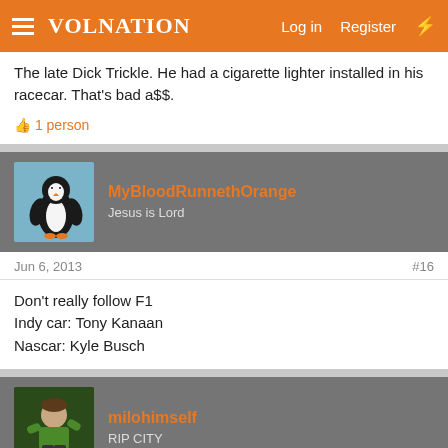VolNation | Log in | Register
The late Dick Trickle. He had a cigarette lighter installed in his racecar. That's bad a$$.
👍 1 person
MyBloodRunnethOrange
Jesus is Lord
Jun 6, 2013 #16
Don't really follow F1
Indy car: Tony Kanaan
Nascar: Kyle Busch
milohimself
RIP CITY
Jun 6, 2013 #17